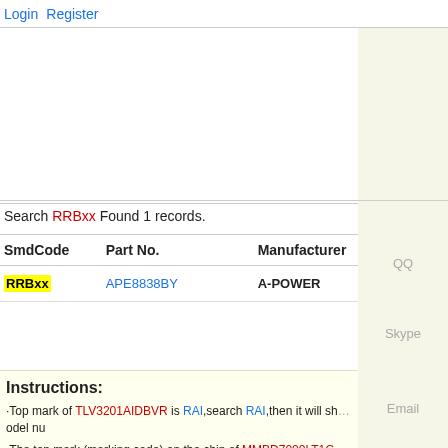Login  Register
Search RRBxx Found 1 records.
| SmdCode | Part No. | Manufacturer | P |
| --- | --- | --- | --- |
| RRBxx | APE8838BY | A-POWER | 6 |
Instructions:
·Top mark of TLV3201AIDBVR is RAI,search RAI,then it will show the original model number...
·The top mark (marking code) on the chip of MMBD7000LT1G is M5C, then it will show the original model number of MMBD700... when searching can be of different combination.